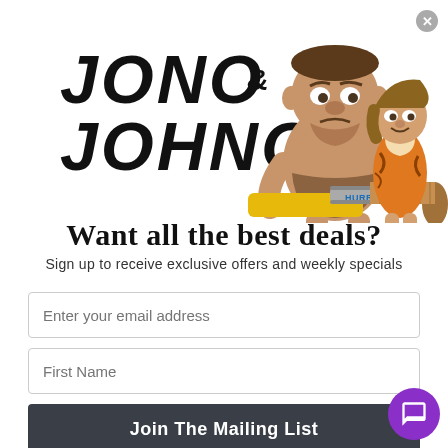[Figure (illustration): Jono & Johno logo with cartoon caveman characters holding a Hurricane chainsaw. Two cartoon prehistoric characters - a large stocky caveman and a smaller cavewoman in tiger-print outfit. Text reads JONO & JOHNO in bold italic letters.]
Want all the best deals?
Sign up to receive exclusive offers and weekly specials
Enter your email address
First Name
Join The Mailing List